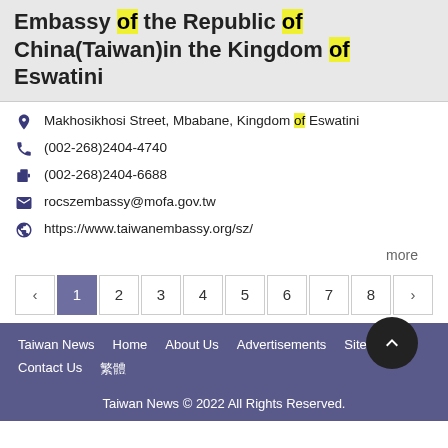Embassy of the Republic of China(Taiwan)in the Kingdom of Eswatini
Makhosikhosi Street, Mbabane, Kingdom of Eswatini
(002-268)2404-4740
(002-268)2404-6688
rocszembassy@mofa.gov.tw
https://www.taiwanembassy.org/sz/
more
‹ 1 2 3 4 5 6 7 8 ›
Taiwan News   Home   About Us   Advertisements   Sitemap   Contact Us   繁體   Taiwan News © 2022 All Rights Reserved.